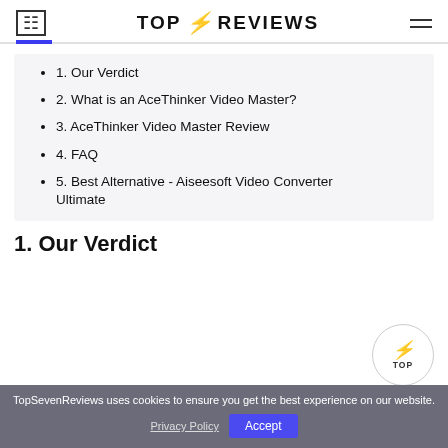TOP ⚡ REVIEWS
1. Our Verdict
2. What is an AceThinker Video Master?
3. AceThinker Video Master Review
4. FAQ
5. Best Alternative - Aiseesoft Video Converter Ultimate
1. Our Verdict
TopSevenReviews uses cookies to ensure you get the best experience on our website.
Privacy Policy   Accept